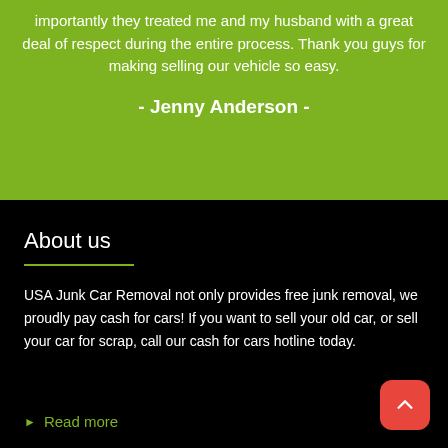importantly they treated me and my husband with a great deal of respect during the entire process. Thank you guys for making selling our vehicle so easy.
- Jenny Anderson -
About us
USA Junk Car Removal not only provides free junk removal, we proudly pay cash for cars! If you want to sell your old car, or sell your car for scrap, call our cash for cars hotline today.
Read more